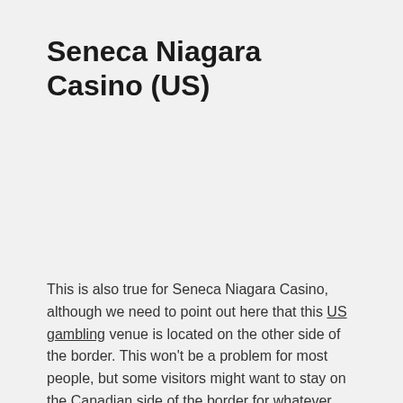Seneca Niagara Casino (US)
This is also true for Seneca Niagara Casino, although we need to point out here that this US gambling venue is located on the other side of the border. This won't be a problem for most people, but some visitors might want to stay on the Canadian side of the border for whatever reason. In case you don't mind crossing the border you'll